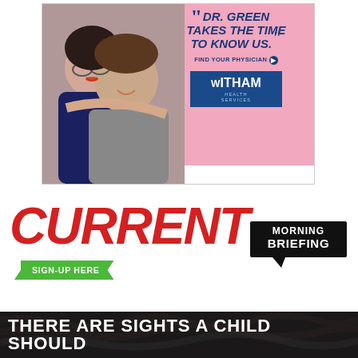[Figure (illustration): Witham Health Services advertisement showing a smiling couple (woman hugging man from behind) on pink and white background with text: 'DR. GREEN TAKES THE TIME TO KNOW US.' FIND YOUR PHYSICIAN arrow, and Witham Health Services logo]
[Figure (logo): CURRENT Morning Briefing advertisement with large red italic CURRENT text, green sign-up button reading SIGN-UP HERE, and a black speech bubble box with MORNING BRIEFING text]
[Figure (illustration): Dark banner advertisement with white bold text: THERE ARE SIGHTS A CHILD SHOULD (text cut off), showing dark background with hair texture]